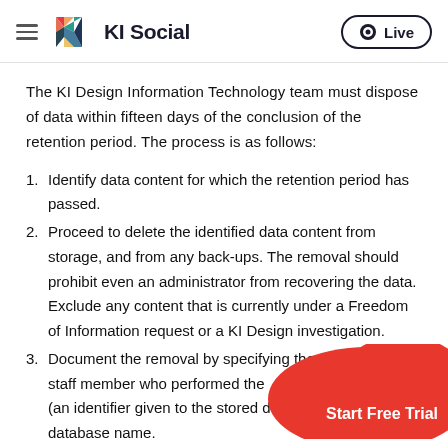KI Social — Live
The KI Design Information Technology team must dispose of data within fifteen days of the conclusion of the retention period. The process is as follows:
1. Identify data content for which the retention period has passed.
2. Proceed to delete the identified data content from storage, and from any back-ups. The removal should prohibit even an administrator from recovering the data. Exclude any content that is currently under a Freedom of Information request or a KI Design investigation.
3. Document the removal by specifying the ID of the staff member who performed the (an identifier given to the stored d database name.